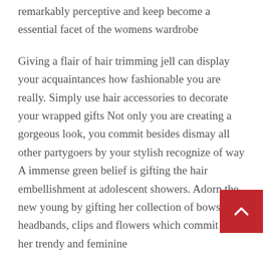remarkably perceptive and keep become a essential facet of the womens wardrobe
Giving a flair of hair trimming jell can display your acquaintances how fashionable you are really. Simply use hair accessories to decorate your wrapped gifts Not only you are creating a gorgeous look, you commit besides dismay all other partygoers by your stylish recognize of way A immense green belief is gifting the hair embellishment at adolescent showers. Adorn the new young by gifting her collection of bows, headbands, clips and flowers which commit own her trendy and feminine
Online hair accessories adduce an interesting flash to any outfit Little girls to the women of all age groups adore them Options scale from small conventional styles to other unique and daring choices These accompaniments carry rewards for giving a noted and